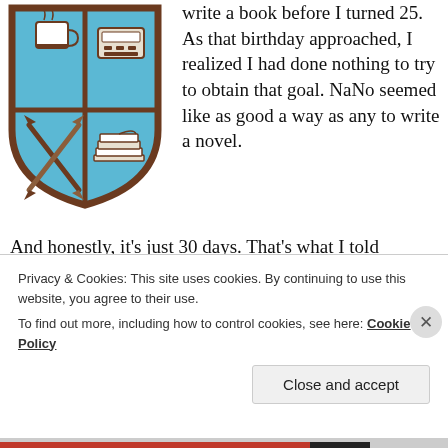[Figure (illustration): NaNoWriMo shield/crest logo with light blue background divided into four quadrants: top-left has a coffee mug, top-right has a typewriter, bottom-left has crossed pens/pencils, bottom-right has a stack of papers. Brown border.]
write a book before I turned 25. As that birthday approached, I realized I had done nothing to try to obtain that goal. NaNo seemed like as good a way as any to write a novel.
And honestly, it's just 30 days. That's what I told myself. If this goes horribly wrong and I hate it, what have I lost? A few evenings and weekends in one month? I figured that was a small price to pay to see if I could accomplish something I'd always wanted to try.
Privacy & Cookies: This site uses cookies. By continuing to use this website, you agree to their use.
To find out more, including how to control cookies, see here: Cookie Policy
Close and accept